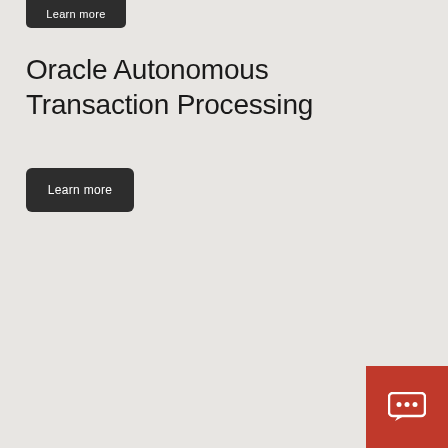[Figure (screenshot): Partial 'Learn more' dark button clipped at top of page]
Oracle Autonomous Transaction Processing
[Figure (other): Dark rounded 'Learn more' button]
[Figure (other): Red chat widget icon in bottom-right corner with speech bubble containing ellipsis]